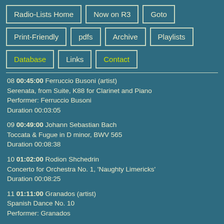Radio-Lists Home
Now on R3
Goto
Print-Friendly
pdfs
Archive
Playlists
Database
Links
Contact
08 00:45:00 Ferruccio Busoni (artist)
Serenata, from Suite, K88 for Clarinet and Piano
Performer: Ferruccio Busoni
Duration 00:03:05
09 00:49:00 Johann Sebastian Bach
Toccata & Fugue in D minor, BWV 565
Duration 00:08:38
10 01:02:00 Rodion Shchedrin
Concerto for Orchestra No. 1, 'Naughty Limericks'
Duration 00:08:25
11 01:11:00 Granados (artist)
Spanish Dance No. 10
Performer: Granados